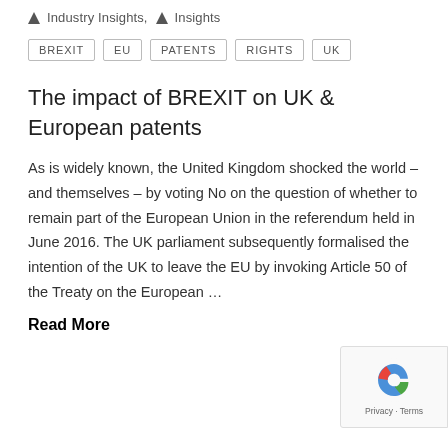Industry Insights, Insights
BREXIT
EU
PATENTS
RIGHTS
UK
The impact of BREXIT on UK & European patents
As is widely known, the United Kingdom shocked the world – and themselves – by voting No on the question of whether to remain part of the European Union in the referendum held in June 2016. The UK parliament subsequently formalised the intention of the UK to leave the EU by invoking Article 50 of the Treaty on the European …
Read More